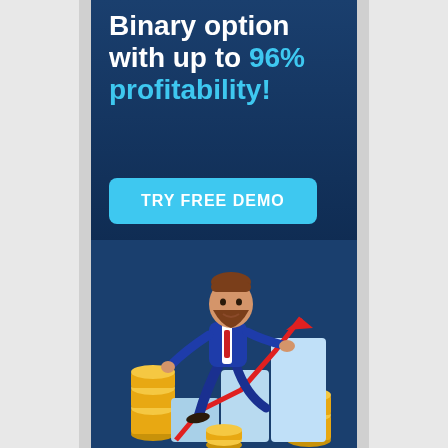Binary option with up to 96% profitability!
TRY FREE DEMO
[Figure (illustration): 3D cartoon businessman in blue suit sitting on ascending bar chart steps with gold coin stacks and a red upward arrow, set against a dark blue background. Promotional image for binary options trading platform.]